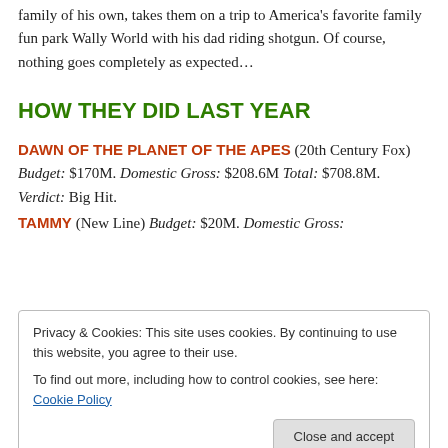family of his own, takes them on a trip to America's favorite family fun park Wally World with his dad riding shotgun. Of course, nothing goes completely as expected…
HOW THEY DID LAST YEAR
DAWN OF THE PLANET OF THE APES (20th Century Fox) Budget: $170M. Domestic Gross: $208.6M Total: $708.8M. Verdict: Big Hit.
TAMMY (New Line) Budget: $20M. Domestic Gross:
Privacy & Cookies: This site uses cookies. By continuing to use this website, you agree to their use.
To find out more, including how to control cookies, see here: Cookie Policy
Close and accept
DELIVER US FROM EVIL (Screen Gems) Budget: $30M